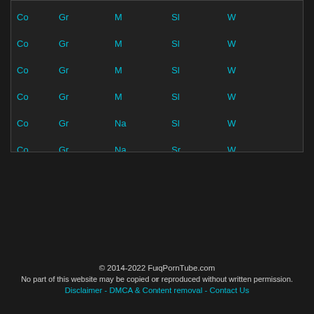| Co | Gr | M | Sl | W |
| --- | --- | --- | --- | --- |
| Co | Gr | M | Sl | W |
| Co | Gr | M | Sl | W |
| Co | Gr | M | Sl | W |
| Co | Gr | M | Sl | W |
| Co | Gr | Na | Sl | W |
| Co | Gr | Na | Sr | W |
| Co | Gr | Na | Sr | Yo |
| Co | Gr | Na | Sr | Yo |
| Co | Gr | Na | Sr | Yo |
© 2014-2022 FuqPornTube.com
No part of this website may be copied or reproduced without written permission.
Disclaimer - DMCA & Content removal - Contact Us